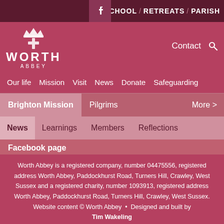SCHOOL / RETREATS / PARISH
[Figure (logo): Worth Abbey logo with crown and cross emblem, text WORTH ABBEY]
Contact [search icon]
Our life   Mission   Visit   News   Donate   Safeguarding
Brighton Mission   Pilgrims   More >
News   Learnings   Members   Reflections
Facebook page
Worth Abbey is a registered company, number 04475556, registered address Worth Abbey, Paddockhurst Road, Turners Hill, Crawley, West Sussex and a registered charity, number 1093913, registered address Worth Abbey, Paddockhurst Road, Turners Hill, Crawley, West Sussex. Website content © Worth Abbey  •  Designed and built by Tim Wakeling
•
Terms, cookies and privacy